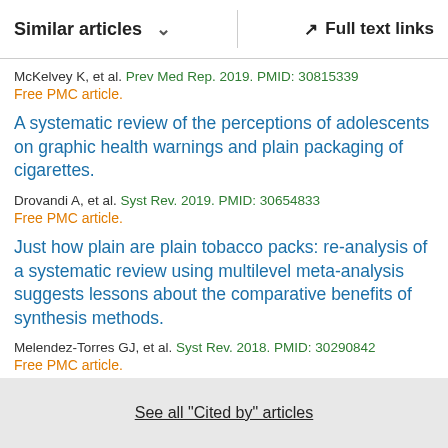Similar articles   Full text links
McKelvey K, et al. Prev Med Rep. 2019. PMID: 30815339
Free PMC article.
A systematic review of the perceptions of adolescents on graphic health warnings and plain packaging of cigarettes.
Drovandi A, et al. Syst Rev. 2019. PMID: 30654833
Free PMC article.
Just how plain are plain tobacco packs: re-analysis of a systematic review using multilevel meta-analysis suggests lessons about the comparative benefits of synthesis methods.
Melendez-Torres GJ, et al. Syst Rev. 2018. PMID: 30290842
Free PMC article.
See all "Cited by" articles